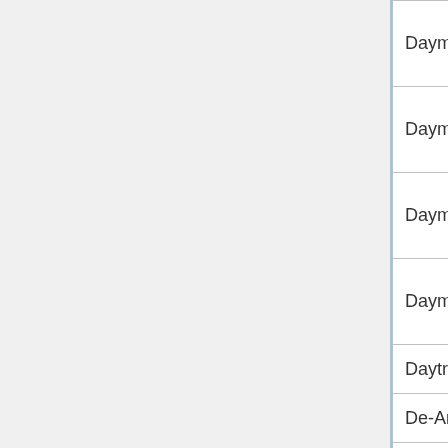| Game | Column2 | Column3 |
| --- | --- | --- |
| Daymare Town | Yes | F |
| Daymare Town 2 | Yes | F |
| Daymare Town 3 | Yes | F |
| Daymare Town 4 | Yes | F |
| Daytraders of the Dead | N/A | N |
| De-Animator | N/A | N |
| Dead Baby Dressup | N/A | N |
| Dead Tread | N/A | N |
| Dead Zed | N/A | N |
| Dead Zed 2 | N/A | N |
| Deadly Venom | N/A | N |
| Death Lab | N/A | N |
| Death Village | N/A | N |